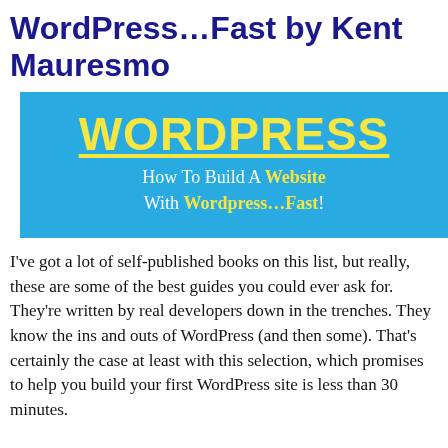WordPress…Fast by Kent Mauresmo
[Figure (illustration): Book cover on a blue background with the title WORDPRESS in large yellow underlined letters, and subtitle 'How To Build A Website With Wordpress…Fast!']
I've got a lot of self-published books on this list, but really, these are some of the best guides you could ever ask for. They're written by real developers down in the trenches. They know the ins and outs of WordPress (and then some). That's certainly the case at least with this selection, which promises to help you build your first WordPress site is less than 30 minutes.